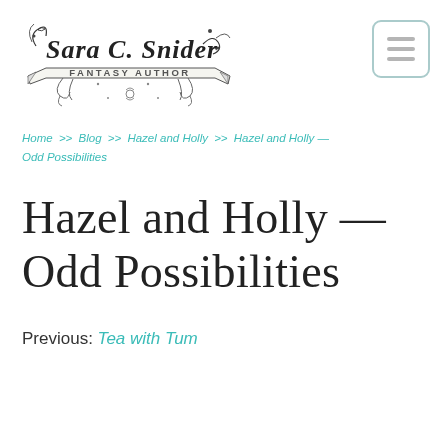[Figure (logo): Sara C. Snider Fantasy Author handwritten script logo with decorative floral and banner elements]
[Figure (other): Hamburger menu button icon with three horizontal lines inside a rounded rectangle border]
Home >> Blog >> Hazel and Holly >> Hazel and Holly — Odd Possibilities
Hazel and Holly — Odd Possibilities
Previous: Tea with Tum